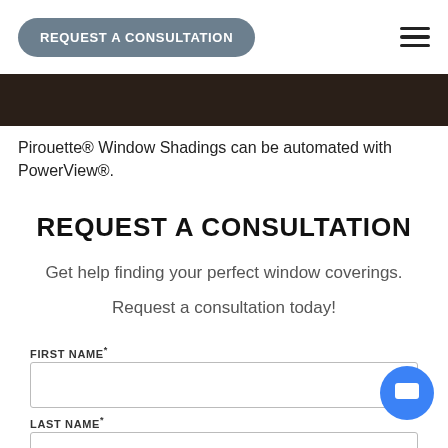REQUEST A CONSULTATION
[Figure (photo): Dark decorative image strip at top of page]
Pirouette® Window Shadings can be automated with PowerView®.
REQUEST A CONSULTATION
Get help finding your perfect window coverings.
Request a consultation today!
FIRST NAME*
LAST NAME*